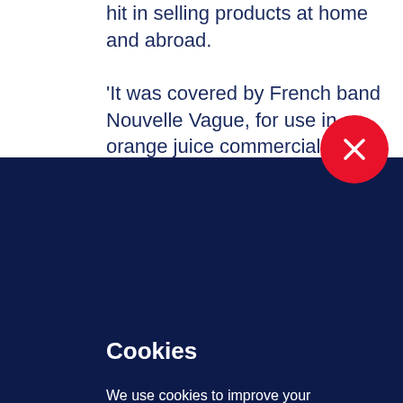hit in selling products at home and abroad.
'It was covered by French band Nouvelle Vague, for use in an orange juice commercial in Poland,' says Pete,
Cookies
We use cookies to improve your experience on our website, assess how you use our website and for website security purposes. By continuing to navigate this website, we'll assume you agree to this. Read more about what cookies do and how to adjust your settings here.